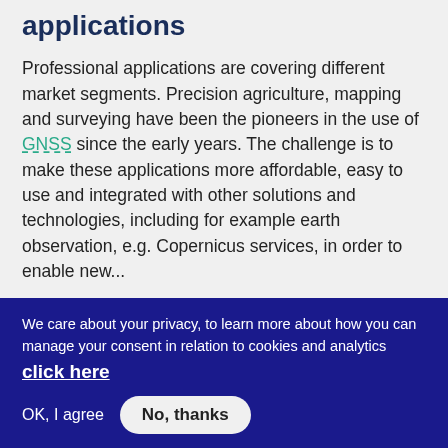applications
Professional applications are covering different market segments. Precision agriculture, mapping and surveying have been the pioneers in the use of GNSS since the early years. The challenge is to make these applications more affordable, easy to use and integrated with other solutions and technologies, including for example earth observation, e.g. Copernicus services, in order to enable new...
Segment
GALILEO 2015 EGNSS...
We care about your privacy, to learn more about how you can manage your consent in relation to cookies and analytics click here
OK, I agree   No, thanks